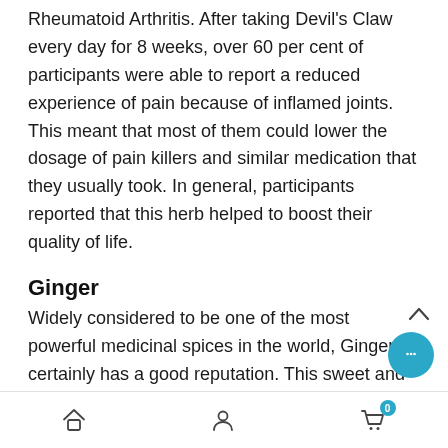Rheumatoid Arthritis. After taking Devil's Claw every day for 8 weeks, over 60 per cent of participants were able to report a reduced experience of pain because of inflamed joints. This meant that most of them could lower the dosage of pain killers and similar medication that they usually took. In general, participants reported that this herb helped to boost their quality of life.
Ginger
Widely considered to be one of the most powerful medicinal spices in the world, Ginger certainly has a good reputation. This sweet and warm spice is a popular ingredient in many different types of cuisine.